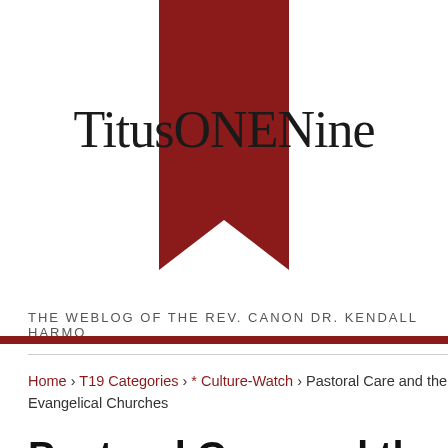[Figure (logo): TitusONENine website logo with dark red ribbon bookmark and site name text]
THE WEBLOG OF THE REV. CANON DR. KENDALL HARMON
Home › T19 Categories › * Culture-Watch › Pastoral Care and the Complexity of Mental Illness in Pentecostal and Evangelical Churches
Pastoral Care and the Complexity of Mental Illness in Pentecostal and Evangelical Churches
T19 Access
Log in
Entries feed
Comments feed
WordPress